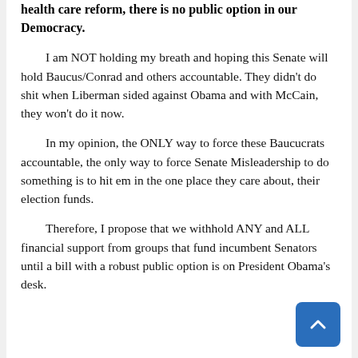health care reform, there is no public option in our Democracy.
I am NOT holding my breath and hoping this Senate will hold Baucus/Conrad and others accountable. They didn't do shit when Liberman sided against Obama and with McCain, they won't do it now.
In my opinion, the ONLY way to force these Baucucrats accountable, the only way to force Senate Misleadership to do something is to hit em in the one place they care about, their election funds.
Therefore, I propose that we withhold ANY and ALL financial support from groups that fund incumbent Senators until a bill with a robust public option is on President Obama's desk.